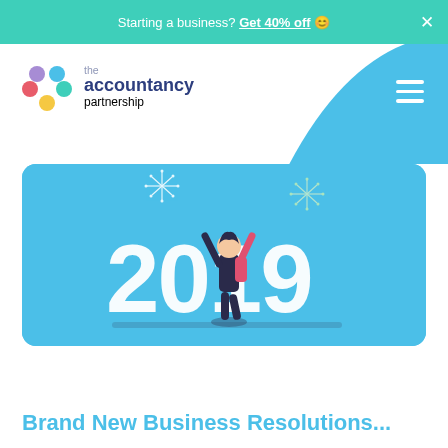Starting a business? Get 40% off 😊
[Figure (logo): The Accountancy Partnership logo with colorful dots and text]
[Figure (illustration): 2019 new year celebration illustration with a person and fireworks on a light blue card background]
Brand New Business Resolutions...